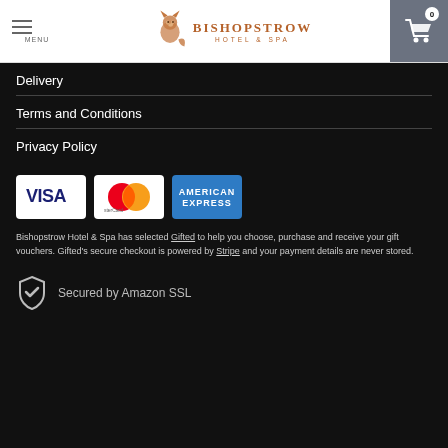MENU | BISHOPSTROW HOTEL & SPA
Delivery
Terms and Conditions
Privacy Policy
[Figure (logo): Payment method logos: Visa, MasterCard, American Express]
Bishopstrow Hotel & Spa has selected Gifted to help you choose, purchase and receive your gift vouchers. Gifted's secure checkout is powered by Stripe and your payment details are never stored.
Secured by Amazon SSL